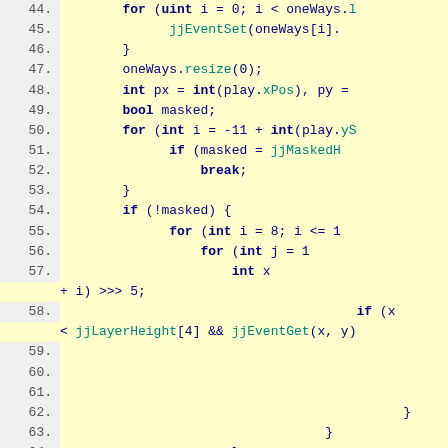[Figure (screenshot): Code editor screenshot showing lines 44-65 of source code with syntax highlighting. Yellow background with line numbers in gray gutter. Code in blue/dark blue with teal for function/member names.]